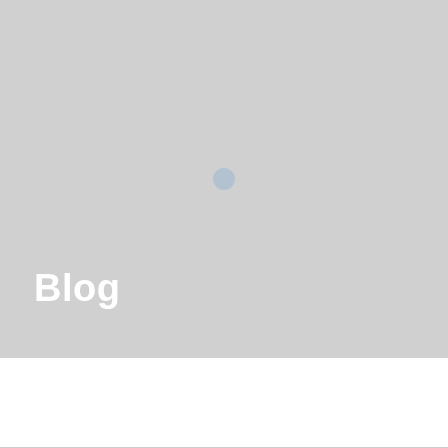[Figure (photo): Large grey placeholder hero image with a small light blue circle in the center and the word 'Blog' in white bold text in the lower left area]
Blog